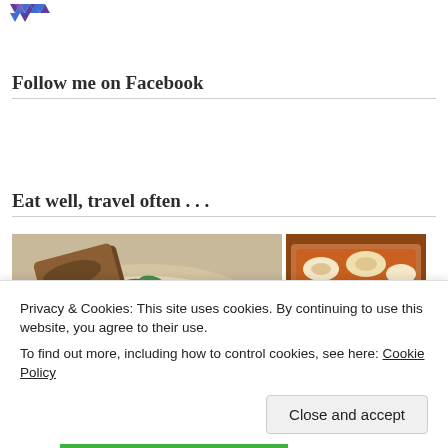[Figure (logo): Purple/blue star/triangle pattern logo in top left corner]
Follow me on Facebook
Eat well, travel often . . .
[Figure (photo): Two food photos side by side: left shows hummus with radish, herbs and flatbread; right shows a baked casserole dish with cheese]
Privacy & Cookies: This site uses cookies. By continuing to use this website, you agree to their use.
To find out more, including how to control cookies, see here: Cookie Policy